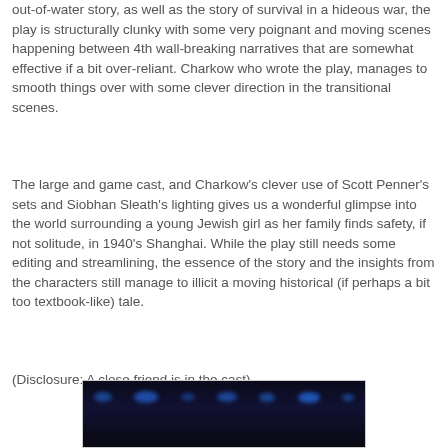out-of-water story, as well as the story of survival in a hideous war, the play is structurally clunky with some very poignant and moving scenes happening between 4th wall-breaking narratives that are somewhat effective if a bit over-reliant. Charkow who wrote the play, manages to smooth things over with some clever direction in the transitional scenes.
The large and game cast, and Charkow's clever use of Scott Penner's sets and Siobhan Sleath's lighting gives us a wonderful glimpse into the world surrounding a young Jewish girl as her family finds safety, if not solitude, in 1940's Shanghai. While the play still needs some editing and streamlining, the essence of the story and the insights from the characters still manage to illicit a moving historical (if perhaps a bit too textbook-like) tale.
(Disclosure: A close friend is in the cast)
[Figure (photo): Dark stage photo with blue lights visible against a black background, showing a theatrical performance scene]